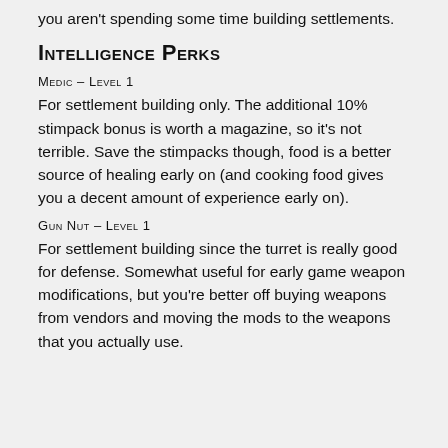you aren't spending some time building settlements.
Intelligence Perks
Medic – Level 1
For settlement building only. The additional 10% stimpack bonus is worth a magazine, so it's not terrible. Save the stimpacks though, food is a better source of healing early on (and cooking food gives you a decent amount of experience early on).
Gun Nut – Level 1
For settlement building since the turret is really good for defense. Somewhat useful for early game weapon modifications, but you're better off buying weapons from vendors and moving the mods to the weapons that you actually use.